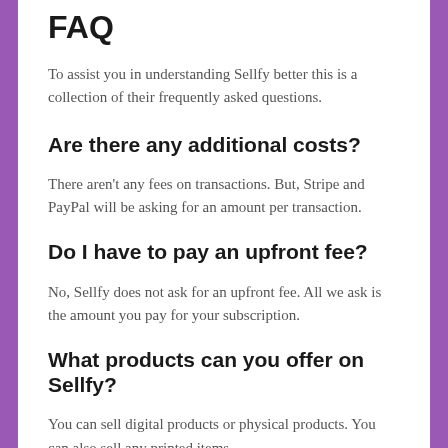FAQ
To assist you in understanding Sellfy better this is a collection of their frequently asked questions.
Are there any additional costs?
There aren't any fees on transactions. But, Stripe and PayPal will be asking for an amount per transaction.
Do I have to pay an upfront fee?
No, Sellfy does not ask for an upfront fee. All we ask is the amount you pay for your subscription.
What products can you offer on Sellfy?
You can sell digital products or physical products. You can also sell any printed items.